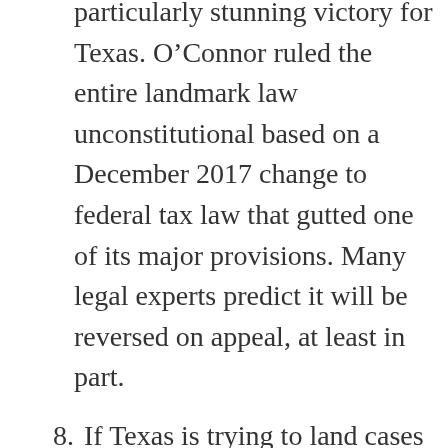particularly stunning victory for Texas. O’Connor ruled the entire landmark law unconstitutional based on a December 2017 change to federal tax law that gutted one of its major provisions. Many legal experts predict it will be reversed on appeal, at least in part.
8. If Texas is trying to land cases before O’Connor, the state has geography on its side.
9. You can’t always choose your judge, but you can often choose your courthouse. That’s especially true for a coalition of 20 states challenging a law that touches